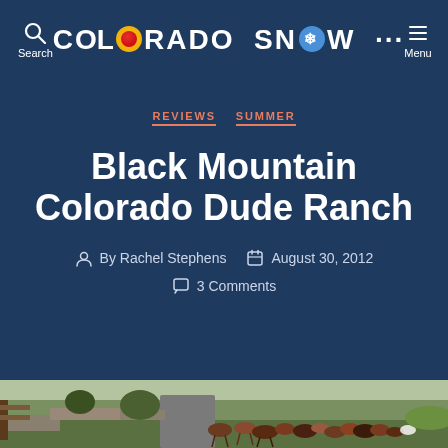COLORADO SNOW
REVIEWS   SUMMER
Black Mountain Colorado Dude Ranch
By Rachel Stephens   August 30, 2012   3 Comments
[Figure (photo): Herd of horses walking along a ranch road with green landscape at Black Mountain Colorado Dude Ranch]